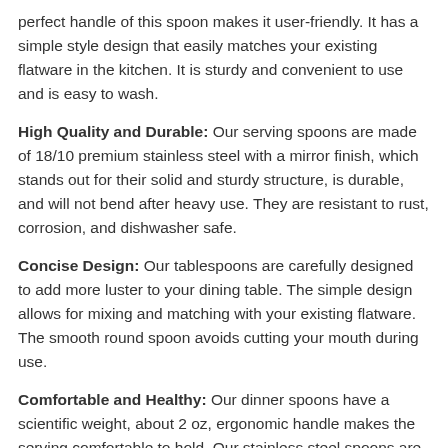perfect handle of this spoon makes it user-friendly. It has a simple style design that easily matches your existing flatware in the kitchen. It is sturdy and convenient to use and is easy to wash.
High Quality and Durable: Our serving spoons are made of 18/10 premium stainless steel with a mirror finish, which stands out for their solid and sturdy structure, is durable, and will not bend after heavy use. They are resistant to rust, corrosion, and dishwasher safe.
Concise Design: Our tablespoons are carefully designed to add more luster to your dining table. The simple design allows for mixing and matching with your existing flatware. The smooth round spoon avoids cutting your mouth during use.
Comfortable and Healthy: Our dinner spoons have a scientific weight, about 2 oz, ergonomic handle makes the serving comfortable to hold. Our stainless steel spoons are non-toxic, have no metal aftertaste, serve you well for years to come.
Material Stainless Steel
Model: S...